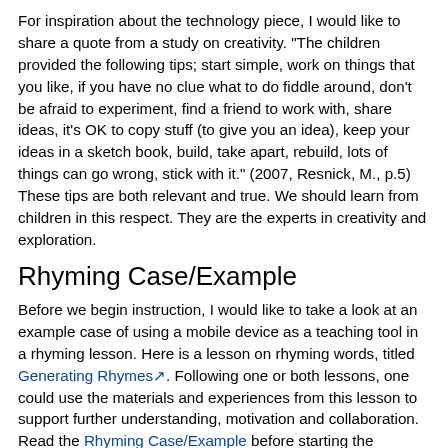For inspiration about the technology piece, I would like to share a quote from a study on creativity. "The children provided the following tips; start simple, work on things that you like, if you have no clue what to do fiddle around, don't be afraid to experiment, find a friend to work with, share ideas, it's OK to copy stuff (to give you an idea), keep your ideas in a sketch book, build, take apart, rebuild, lots of things can go wrong, stick with it." (2007, Resnick, M., p.5) These tips are both relevant and true. We should learn from children in this respect. They are the experts in creativity and exploration.
Rhyming Case/Example
Before we begin instruction, I would like to take a look at an example case of using a mobile device as a teaching tool in a rhyming lesson. Here is a lesson on rhyming words, titled Generating Rhymes. Following one or both lessons, one could use the materials and experiences from this lesson to support further understanding, motivation and collaboration. Read the Rhyming Case/Example before starting the instruction.